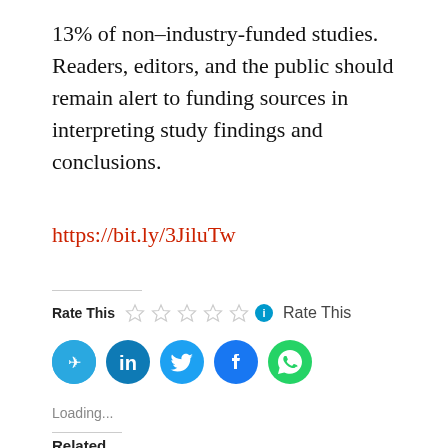13% of non–industry-funded studies. Readers, editors, and the public should remain alert to funding sources in interpreting study findings and conclusions.
https://bit.ly/3JiluTw
Rate This  Rate This
[Figure (infographic): Social sharing buttons: Telegram (blue), LinkedIn (blue), Twitter (blue), Facebook (dark blue), WhatsApp (green)]
Loading...
Related